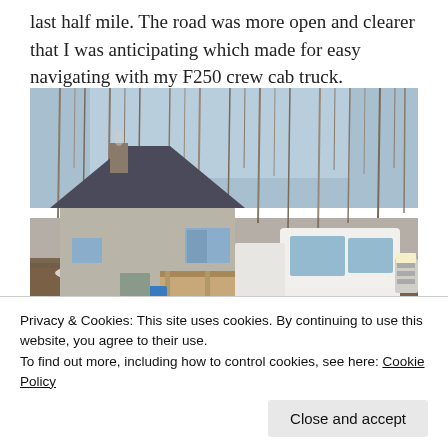last half mile. The road was more open and clearer that I was anticipating which made for easy navigating with my F250 crew cab truck.
[Figure (photo): A white Ford F250 crew cab truck parked in front of a small cabin or house with a covered porch, surrounded by bare trees in winter/early spring. There are patches of snow on the ground.]
Privacy & Cookies: This site uses cookies. By continuing to use this website, you agree to their use.
To find out more, including how to control cookies, see here: Cookie Policy